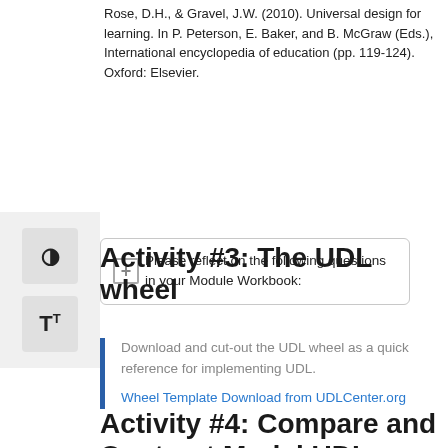Rose, D.H., & Gravel, J.W. (2010). Universal design for learning. In P. Peterson, E. Baker, and B. McGraw (Eds.), International encyclopedia of education (pp. 119-124). Oxford: Elsevier.
Please reflect on the following questions in your Module Workbook:
Activity #3: The UDL wheel
Download and cut-out the UDL wheel as a quick reference for implementing UDL.
Wheel Template Download from UDLCenter.org
Activity #4: Compare and Contrast Model UDL